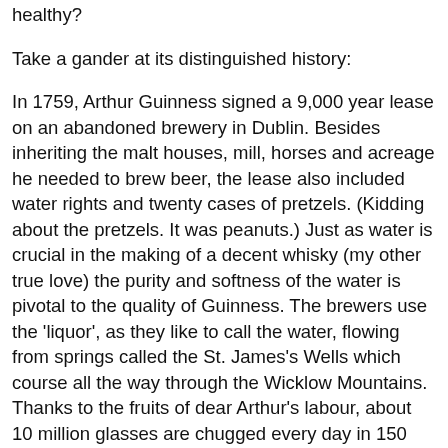healthy?
Take a gander at its distinguished history:
In 1759, Arthur Guinness signed a 9,000 year lease on an abandoned brewery in Dublin. Besides inheriting the malt houses, mill, horses and acreage he needed to brew beer, the lease also included water rights and twenty cases of pretzels. (Kidding about the pretzels. It was peanuts.) Just as water is crucial in the making of a decent whisky (my other true love) the purity and softness of the water is pivotal to the quality of Guinness. The brewers use the 'liquor', as they like to call the water, flowing from springs called the St. James's Wells which course all the way through the Wicklow Mountains. Thanks to the fruits of dear Arthur's labour, about 10 million glasses are chugged every day in 150 countries. Go Artie, go!
And thanks to the invention of the widget, we can now enjoy Guinness at home.
I love that velvet creaminess, the smooth